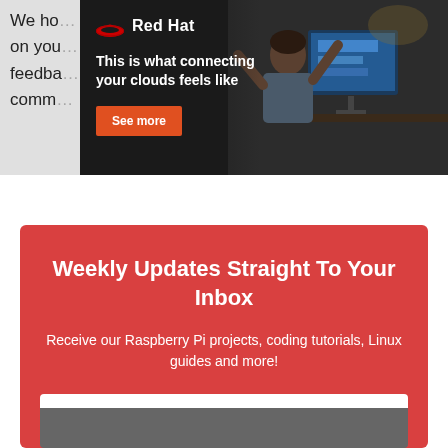We ho… tutorials … items on you… s, feedba… ve a comm…
[Figure (screenshot): Red Hat advertisement overlay showing 'This is what connecting your clouds feels like' with a person at a computer and a 'See more' button]
Weekly Updates Straight To Your Inbox
Receive our Raspberry Pi projects, coding tutorials, Linux guides and more!
Email*